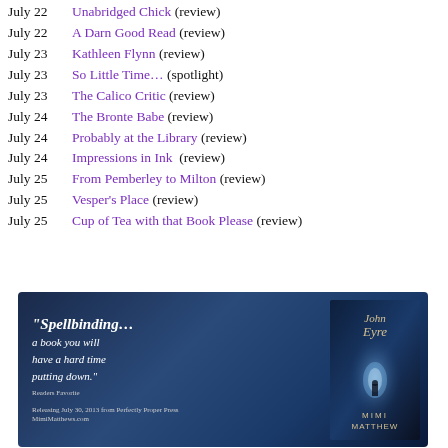July 22   Unabridged Chick (review)
July 22   A Darn Good Read (review)
July 23   Kathleen Flynn (review)
July 23   So Little Time… (spotlight)
July 23   The Calico Critic (review)
July 24   The Bronte Babe (review)
July 24   Probably at the Library (review)
July 24   Impressions in Ink  (review)
July 25   From Pemberley to Milton (review)
July 25   Vesper's Place (review)
July 25   Cup of Tea with that Book Please (review)
[Figure (illustration): Book promotional image for 'John Eyre' by Mimi Matthew with quote 'Spellbinding... a book you will have a hard time putting down.' - Readers Favorite]